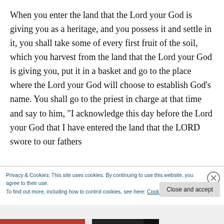When you enter the land that the Lord your God is giving you as a heritage, and you possess it and settle in it, you shall take some of every first fruit of the soil, which you harvest from the land that the Lord your God is giving you, put it in a basket and go to the place where the Lord your God will choose to establish God’s name. You shall go to the priest in charge at that time and say to him, “I acknowledge this day before the Lord your God that I have entered the land that the LORD swore to our fathers
Privacy & Cookies: This site uses cookies. By continuing to use this website, you agree to their use.
To find out more, including how to control cookies, see here: Cookie Policy
Close and accept